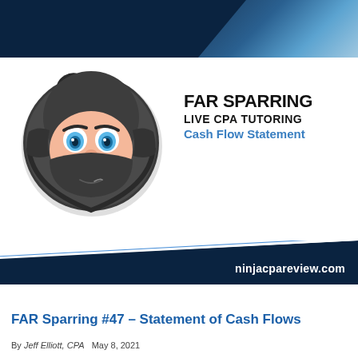[Figure (illustration): Dark navy header banner with blue geometric angular shapes in upper right corner]
[Figure (logo): Ninja CPA Review cartoon ninja logo: round black helmet head with blue eyes, skin-toned face, black mask covering lower face, small smirk visible]
FAR SPARRING
LIVE CPA TUTORING
Cash Flow Statement
[Figure (illustration): Dark navy diagonal bottom banner with white and blue accent stripes, showing ninjacpareview.com text]
FAR Sparring #47 – Statement of Cash Flows
By Jeff Elliott, CPA   May 8, 2021